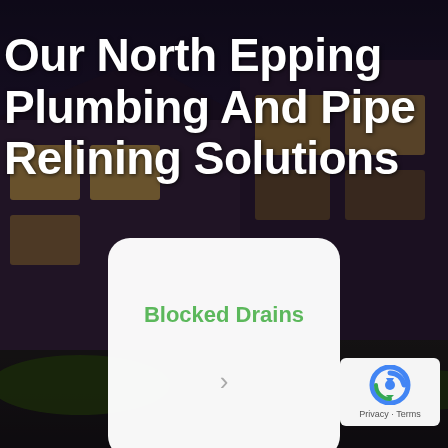[Figure (photo): Dark nighttime exterior of a modern two-story house with lit windows, serving as background.]
Our North Epping Plumbing And Pipe Relining Solutions
[Figure (infographic): White rounded card with green bold text 'Blocked Drains' and a grey right-arrow chevron at the bottom center.]
[Figure (logo): Google reCAPTCHA badge in bottom right corner showing the reCAPTCHA logo with 'Privacy · Terms' text below.]